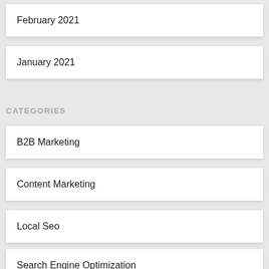February 2021
January 2021
CATEGORIES
B2B Marketing
Content Marketing
Local Seo
Search Engine Optimization